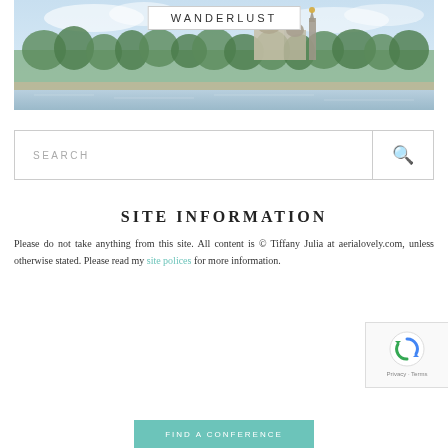[Figure (photo): Panoramic cityscape photo of Paris showing the Seine river, Alexandre III bridge area, trees, and buildings in light blue sky]
WANDERLUST
[Figure (other): Search box with SEARCH placeholder text and a magnifying glass icon]
SITE INFORMATION
Please do not take anything from this site. All content is © Tiffany Julia at aerialovely.com, unless otherwise stated. Please read my site polices for more information.
[Figure (other): Google reCAPTCHA badge with spinning arrows icon and Privacy - Terms text]
[Figure (other): Teal/green button at the bottom of the page, partially visible]